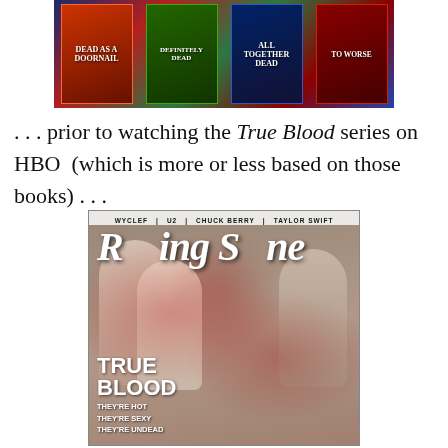[Figure (photo): Row of book covers including 'Dead as a Doornail', 'All Together Dead', and others from a fantasy/vampire book series, shown against colorful backgrounds]
. . . prior to watching the True Blood series on HBO  (which is more or less based on those books) . . .
[Figure (photo): Rolling Stone magazine cover featuring three nude figures covered in blood from the True Blood HBO series, with text 'TRUE BLOOD - THEY'RE HOT THEY'RE SEXY THEY'RE UNDEAD'. Top bar lists WYCLEF, U2, CHUCK BERRY, TAYLOR SWIFT.]